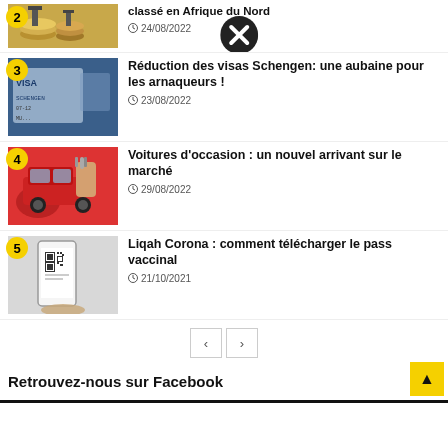[Figure (photo): Article thumbnail with coin stacks and people figures (article 2, partially visible at top)]
classé en Afrique du Nord
24/08/2022
[Figure (photo): Article thumbnail showing Schengen visa document]
3 Réduction des visas Schengen: une aubaine pour les arnaqueurs !
23/08/2022
[Figure (photo): Article thumbnail showing red car and car keys]
4 Voitures d'occasion : un nouvel arrivant sur le marché
29/08/2022
[Figure (photo): Article thumbnail showing smartphone with QR code]
5 Liqah Corona : comment télécharger le pass vaccinal
21/10/2021
Retrouvez-nous sur Facebook